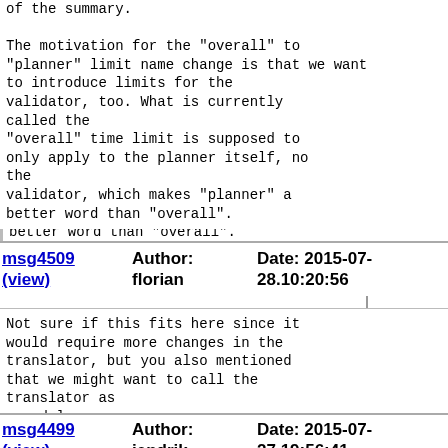of the summary.

The motivation for the "overall" to "planner" limit name change is that we want
to introduce limits for the validator, too. What is currently called the
"overall" time limit is supposed to only apply to the planner itself, not the
validator, which makes "planner" a better word than "overall".
msg4509 (view)   Author: florian   Date: 2015-07-28.10:20:56
Not sure if this fits here since it would require more changes in the translator, but you also mentioned that we might want to call the translator as
a module.
msg4499 (view)   Author: jendrik   Date: 2015-07-27.19:56:41
Refactoring the portfolio code is still